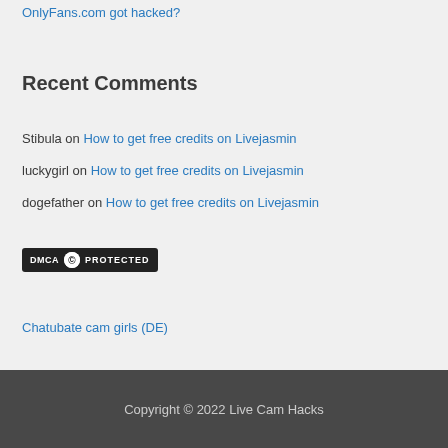OnlyFans.com got hacked?
Recent Comments
Stibula on How to get free credits on Livejasmin
luckygirl on How to get free credits on Livejasmin
dogefather on How to get free credits on Livejasmin
[Figure (logo): DMCA Protected badge with dark background]
Chatubate cam girls (DE)
Copyright © 2022 Live Cam Hacks